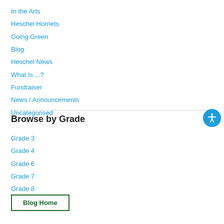In the Arts
Heschel Hornets
Going Green
Blog
Heschel News
What Is ...?
Fundraiser
News / Announcements
Uncategorised
Browse by Grade
Grade 3
Grade 4
Grade 6
Grade 7
Grade 8
JK
Blog Home